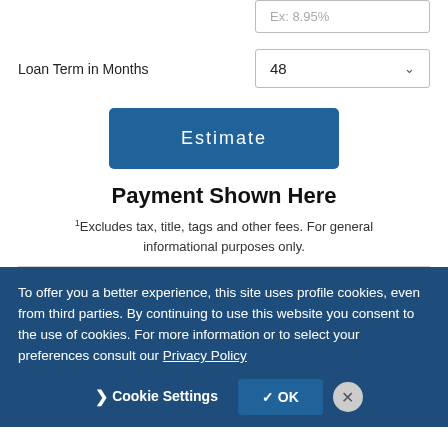Ex: 8.95%
Loan Term in Months
48
[Figure (screenshot): Estimate button - blue rounded rectangle with white text 'Estimate']
Payment Shown Here
1 Excludes tax, title, tags and other fees. For general informational purposes only.
To offer you a better experience, this site uses profile cookies, even from third parties. By continuing to use this website you consent to the use of cookies. For more information or to select your preferences consult our Privacy Policy
Cookie Settings
✓ OK